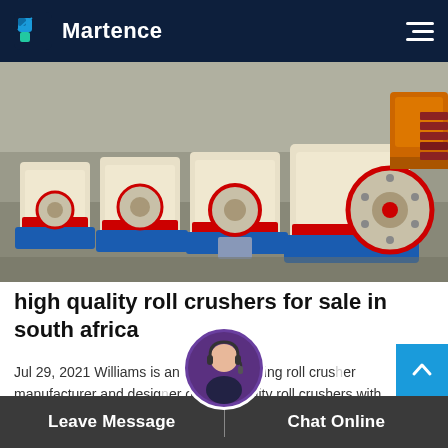Martence
[Figure (photo): Industrial roll crusher machines in cream/beige color with red accents and blue bases, lined up in a factory yard. Orange machinery visible in background right.]
high quality roll crushers for sale in south africa
Jul 29, 2021 Williams is an industry-leading roll crusher manufacturer and designer of high-quality roll crushers with desirable such as high- Chat Online; Roll Crusheran overview ScienceDirect Topics
Leave Message   Chat Online